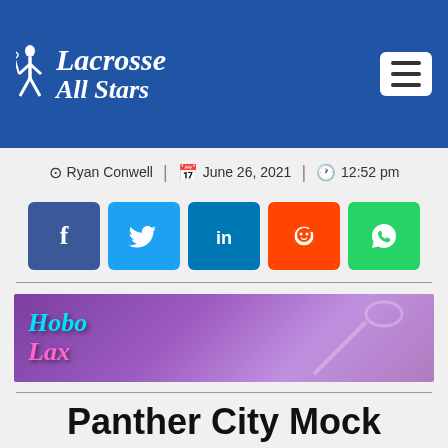Lacrosse All Stars
Ryan Conwell | June 26, 2021 | 12:52 pm
[Figure (infographic): Social sharing buttons: Facebook (dark blue), Twitter (light blue), LinkedIn (blue), Reddit (orange-red), WhatsApp (green)]
[Figure (illustration): Hobo Lax banner advertisement with purple gradient background and stylized logo text]
Panther City Mock